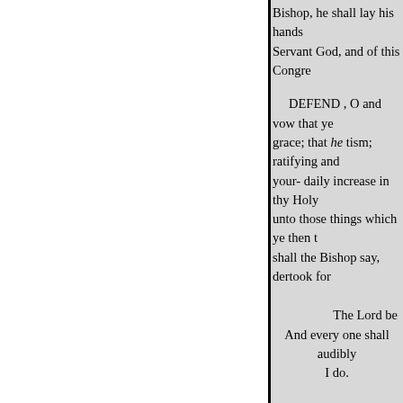Bishop, he shall lay his hands Servant God, and of this Congre
DEFEND , O and vow that ye grace; that he tism; ratifying and your- daily increase in thy Holy unto those things which ye then t shall the Bishop say, dertook for
The Lord be
And every one shall audibly
I do.
Let us pray.
ever be with them: And so lead U ven, Hallowed be thy Name; die obtain everlasting de done on Ea day our daily who, with thee and one God, passes, as we forgive t
not into temptation; But deliv